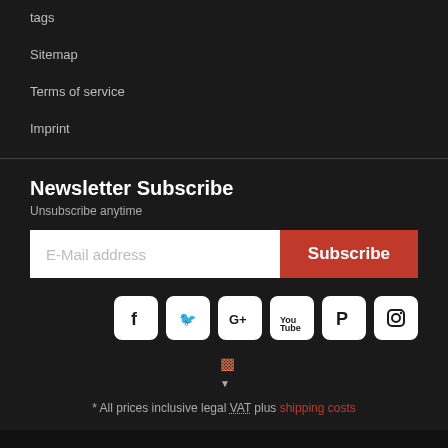tags
Sitemap
Terms of service
Imprint
Newsletter Subscribe
Unsubscribe anytime
E-Mail address   Subscribe
[Figure (infographic): Social media icons: Facebook, Twitter, Google+, YouTube, Pinterest, Instagram]
* All prices inclusive legal VAT plus shipping costs